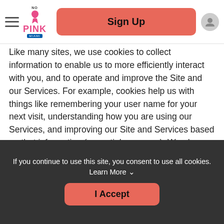Sign Up
Like many sites, we use cookies to collect information to enable us to more efficiently interact with you, and to operate and improve the Site and our Services. For example, cookies help us with things like remembering your user name for your next visit, understanding how you are using our Services, and improving our Site and Services based on that information (essential purposes). We also use cookies for non-essential purposes like analytics and marketing that some of our events may use to contact you about events that they may offer. You can instruct your browser to refuse all cookies or to indicate when a cookie is being sent. However, if you do not accept cookies, you may not be able to use some portions of our
If you continue to use this site, you consent to use all cookies. Learn More
I Accept